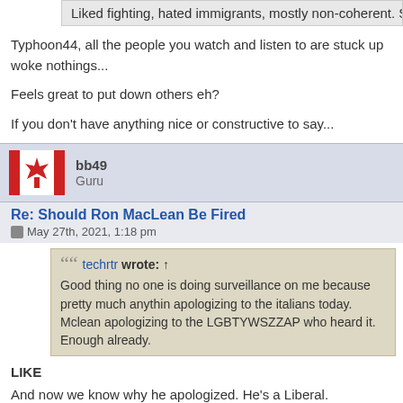Liked fighting, hated immigrants, mostly non-coherent. Sounds doddering to
Typhoon44, all the people you watch and listen to are stuck up woke nothings...
Feels great to put down others eh?
If you don't have anything nice or constructive to say...
bb49
Guru
Re: Should Ron MacLean Be Fired
May 27th, 2021, 1:18 pm
techrtr wrote: ↑
Good thing no one is doing surveillance on me because pretty much anythin apologizing to the italians today. Mclean apologizing to the LGBTYWSZZAP who heard it. Enough already.
LIKE
And now we know why he apologized. He's a Liberal.
I am a Canadian (with unacceptable views)